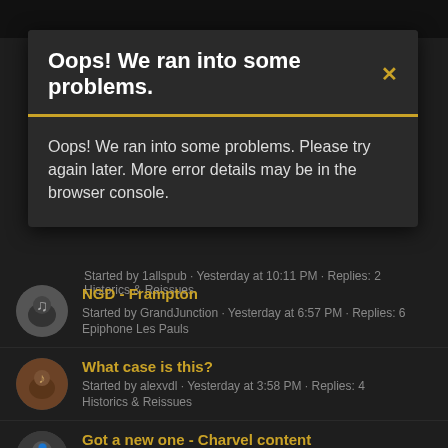Oops! We ran into some problems.
Oops! We ran into some problems. Please try again later. More error details may be in the browser console.
Started by 1allspub · Yesterday at 10:11 PM · Replies: 2
Historics & Reissues
NGD - Frampton
Started by GrandJunction · Yesterday at 6:57 PM · Replies: 6
Epiphone Les Pauls
What case is this?
Started by alexvdl · Yesterday at 3:58 PM · Replies: 4
Historics & Reissues
Got a new one - Charvel content
Started by Riffraff12571 · Yesterday at 3:31 PM · Replies: 6
Other Guitars